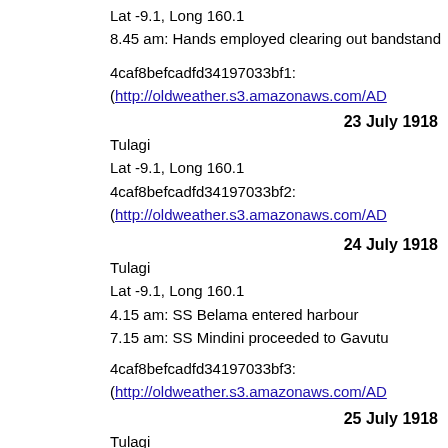Lat -9.1, Long 160.1
8.45 am: Hands employed clearing out bandstand
4caf8befcadfd34197033bf1: (http://oldweather.s3.amazonaws.com/AD...)
23 July 1918
Tulagi
Lat -9.1, Long 160.1
4caf8befcadfd34197033bf2: (http://oldweather.s3.amazonaws.com/AD...)
24 July 1918
Tulagi
Lat -9.1, Long 160.1
4.15 am: SS Belama entered harbour
7.15 am: SS Mindini proceeded to Gavutu
4caf8befcadfd34197033bf3: (http://oldweather.s3.amazonaws.com/AD...)
25 July 1918
Tulagi
Lat -9.1, Long 160.1
4caf8befcadfd34197033bf4: (http://oldweather.s3.amazonaws.com/AD...)
26 July 1918
Tulagi
Lat -9.1, Long 160.1
4caf8befcadfd34197033bf5: (http://oldweather.s3.amazonaws.com/AD...)
27 July 1918